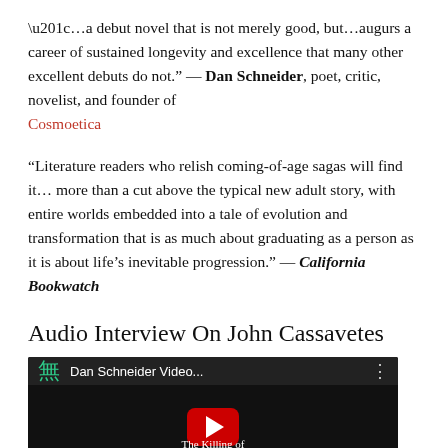“…a debut novel that is not merely good, but…augurs a career of sustained longevity and excellence that many other excellent debuts do not.” — Dan Schneider, poet, critic, novelist, and founder of Cosmoetica
“Literature readers who relish coming-of-age sagas will find it… more than a cut above the typical new adult story, with entire worlds embedded into a tale of evolution and transformation that is as much about graduating as a person as it is about life’s inevitable progression.” — California Bookwatch
Audio Interview On John Cassavetes
[Figure (screenshot): YouTube video thumbnail for 'Dan Schneider Video...' showing a play button on a dark background with text 'The Killing of Chinese Boo...' visible at the bottom]